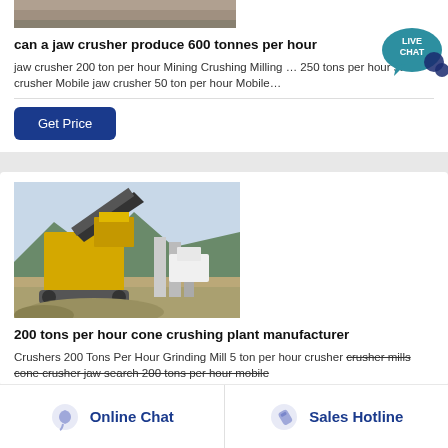[Figure (photo): Top portion of a jaw crusher machine image, partially visible]
can a jaw crusher produce 600 tonnes per hour
jaw crusher 200 ton per hour Mining Crushing Milling … 250 tons per hour stone crusher Mobile jaw crusher 50 ton per hour Mobile…
[Figure (other): Live Chat speech bubble icon in teal/dark blue]
Get Price
[Figure (photo): Yellow cone crushing plant / mobile crusher machine at an outdoor site with mountains in background]
[Figure (other): Scroll to top icon]
200 tons per hour cone crushing plant manufacturer
Crushers 200 Tons Per Hour Grinding Mill 5 ton per hour crusher crusher mills cone crusher jaw search 200 tons per hour mobile
Online Chat
Sales Hotline